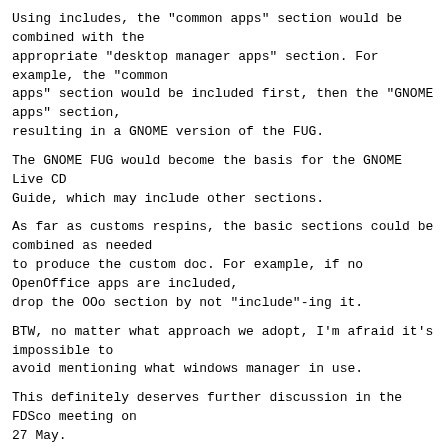Using includes, the "common apps" section would be combined with the
appropriate "desktop manager apps" section. For example, the "common
apps" section would be included first, then the "GNOME apps" section,
resulting in a GNOME version of the FUG.
The GNOME FUG would become the basis for the GNOME Live CD
Guide, which may include other sections.
As far as customs respins, the basic sections could be combined as needed
to produce the custom doc. For example, if no OpenOffice apps are included,
drop the OOo section by not "include"-ing it.
BTW, no matter what approach we adopt, I'm afraid it's impossible to
avoid mentioning what windows manager in use.
This definitely deserves further discussion in the FDSco meeting on
27 May.
John Babich
Volunteer, Fedora Docs Project